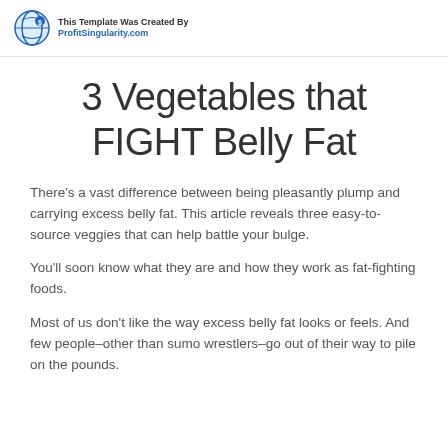This Template Was Created By ProfitSingularity.com
3 Vegetables that FIGHT Belly Fat
There's a vast difference between being pleasantly plump and carrying excess belly fat. This article reveals three easy-to-source veggies that can help battle your bulge.
You'll soon know what they are and how they work as fat-fighting foods.
Most of us don't like the way excess belly fat looks or feels. And few people–other than sumo wrestlers–go out of their way to pile on the pounds.